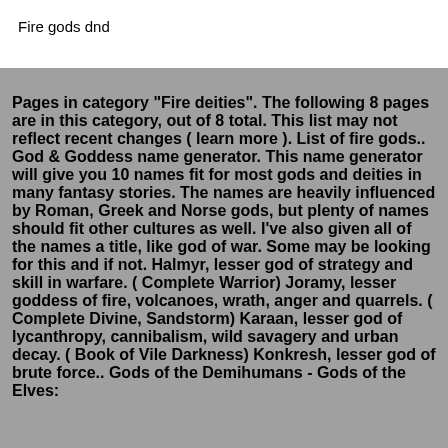Fire gods dnd
Pages in category "Fire deities". The following 8 pages are in this category, out of 8 total. This list may not reflect recent changes ( learn more ). List of fire gods.. God & Goddess name generator. This name generator will give you 10 names fit for most gods and deities in many fantasy stories. The names are heavily influenced by Roman, Greek and Norse gods, but plenty of names should fit other cultures as well. I've also given all of the names a title, like god of war. Some may be looking for this and if not. Halmyr, lesser god of strategy and skill in warfare. ( Complete Warrior) Joramy, lesser goddess of fire, volcanoes, wrath, anger and quarrels. ( Complete Divine, Sandstorm) Karaan, lesser god of lycanthropy, cannibalism, wild savagery and urban decay. ( Book of Vile Darkness) Konkresh, lesser god of brute force.. Gods of the Demihumans - Gods of the Elves: